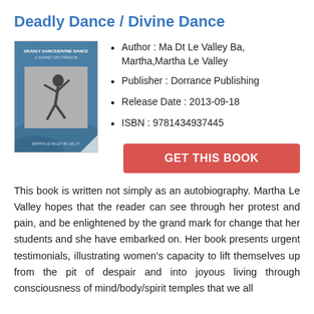Deadly Dance / Divine Dance
[Figure (photo): Book cover of 'Deadly Dance/Divine Dance: A Journey Into Freedom' by Martha Le Valley Ba, Ma, Dt. Shows a dancer in motion on a blue background.]
Author : Ma Dt Le Valley Ba, Martha,Martha Le Valley
Publisher : Dorrance Publishing
Release Date : 2013-09-18
ISBN : 9781434937445
GET THIS BOOK
This book is written not simply as an autobiography. Martha Le Valley hopes that the reader can see through her protest and pain, and be enlightened by the grand mark for change that her students and she have embarked on. Her book presents urgent testimonials, illustrating women's capacity to lift themselves up from the pit of despair and into joyous living through consciousness of mind/body/spirit temples that we all